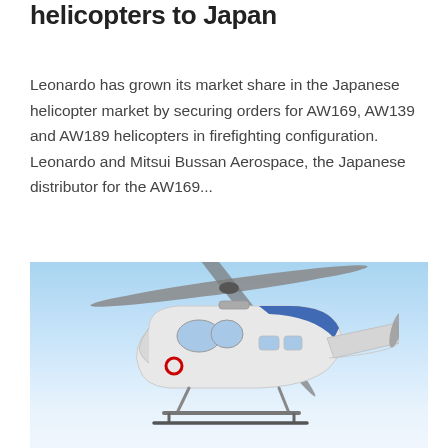helicopters to Japan
Leonardo has grown its market share in the Japanese helicopter market by securing orders for AW169, AW139 and AW189 helicopters in firefighting configuration. Leonardo and Mitsui Bussan Aerospace, the Japanese distributor for the AW169...
[Figure (photo): A white and blue helicopter (AW189 or similar Leonardo model) flying in a clear blue sky, photographed from below at an angle. The helicopter has red circle markings and appears to be in a firefighting or emergency services configuration.]